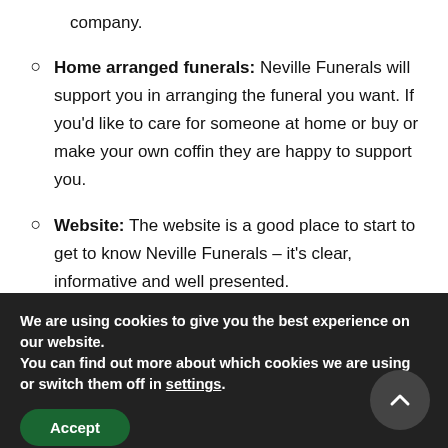company.
Home arranged funerals: Neville Funerals will support you in arranging the funeral you want. If you'd like to care for someone at home or buy or make your own coffin they are happy to support you.
Website: The website is a good place to start to get to know Neville Funerals – it's clear, informative and well presented. www.nevillefuneralservice.com
We are using cookies to give you the best experience on our website.
You can find out more about which cookies we are using or switch them off in settings.